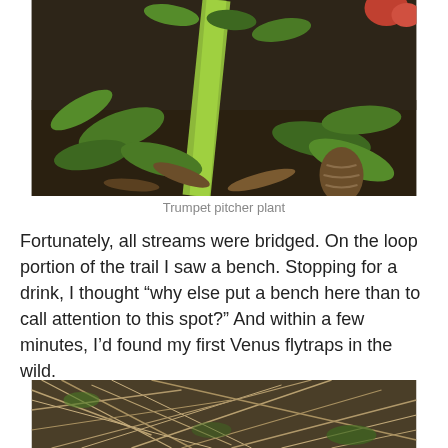[Figure (photo): Close-up photo of a trumpet pitcher plant among green leaves and dark soil/debris]
Trumpet pitcher plant
Fortunately, all streams were bridged. On the loop portion of the trail I saw a bench. Stopping for a drink, I thought “why else put a bench here than to call attention to this spot?” And within a few minutes, I’d found my first Venus flytraps in the wild.
[Figure (photo): Close-up photo of dry grass and plant debris on the ground, likely showing Venus flytrap habitat]